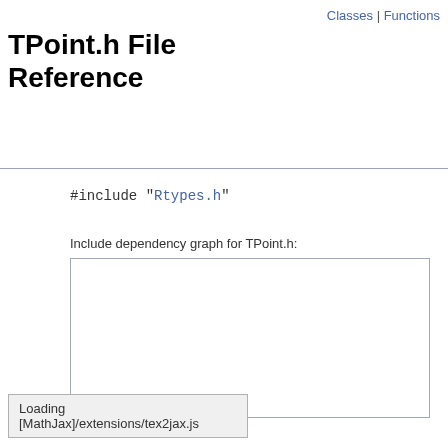Classes | Functions
TPoint.h File Reference
#include "Rtypes.h"
Include dependency graph for TPoint.h:
[Figure (other): Include dependency graph box for TPoint.h (empty/loading diagram area)]
Loading [MathJax]/extensions/tex2jax.js